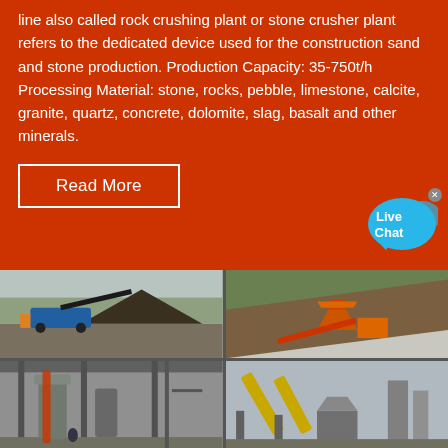line also called rock crushing plant or stone crusher plant refers to the dedicated device used for the construction sand and stone production. Production Capacity: 35-750t/h Processing Material: stone, rocks, pebble, limestone, calcite, granite, quartz, concrete, dolomite, slag, basalt and other minerals.
Read More
[Figure (photo): Outdoor mining/quarry site with blue mobile crushing equipment and a yellow front loader, pile of crushed stone in background]
[Figure (photo): Hillside quarry with orange cone crusher and conveyor belt equipment against rocky cliff face]
[Figure (photo): Indoor industrial mill facility with large vertical grinding mills and support structures]
[Figure (photo): Outdoor industrial conveyor and crushing plant with yellow equipment against grey sky]